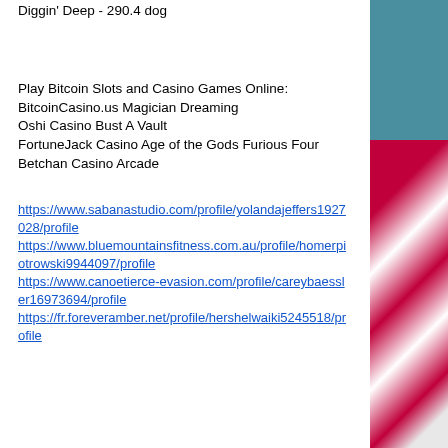Diggin' Deep - 290.4 dog
Play Bitcoin Slots and Casino Games Online:
BitcoinCasino.us Magician Dreaming
Oshi Casino Bust A Vault
FortuneJack Casino Age of the Gods Furious Four
Betchan Casino Arcade
https://www.sabanastudio.com/profile/yolandajeffers1927028/profile
https://www.bluemountainsfitness.com.au/profile/homerpiotrowski9944097/profile
https://www.canoetierce-evasion.com/profile/careybaessler16973694/profile
https://fr.foreveramber.net/profile/hershelwaiki5245518/profile